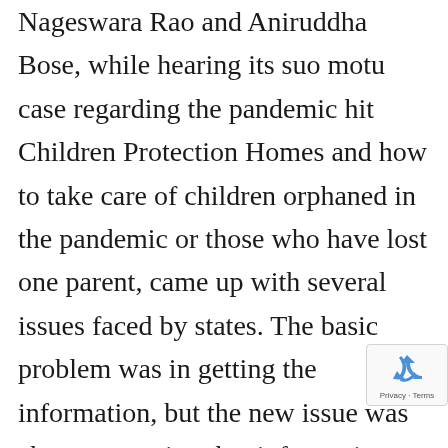Nageswara Rao and Aniruddha Bose, while hearing its suo motu case regarding the pandemic hit Children Protection Homes and how to take care of children orphaned in the pandemic or those who have lost one parent, came up with several issues faced by states. The basic problem was in getting the information, but the new issue was about protecting that information from getting out into the public a...
[Figure (other): reCAPTCHA badge with recycling arrows icon and 'Privacy - Terms' text]